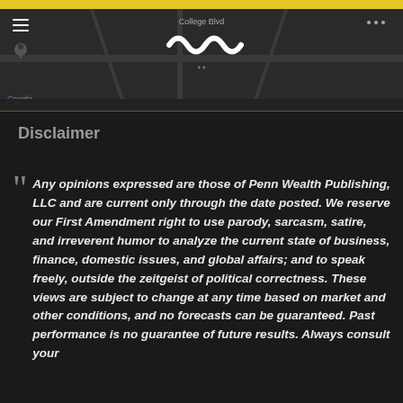[Figure (screenshot): Google Maps screenshot showing a map with College Blvd label, a wavy/wave logo in the center, hamburger menu icon and location pin on the left, map attribution text at the bottom including 'Keyboard shortcuts', 'Map data ©2022', 'Terms of Use']
Disclaimer
Any opinions expressed are those of Penn Wealth Publishing, LLC and are current only through the date posted.  We reserve our First Amendment right to use parody, sarcasm, satire, and irreverent humor to analyze the current state of business, finance, domestic issues, and global affairs; and to speak freely, outside the zeitgeist of political correctness.  These views are subject to change at any time based on market and other conditions, and no forecasts can be guaranteed.  Past performance is no guarantee of future results.  Always consult your